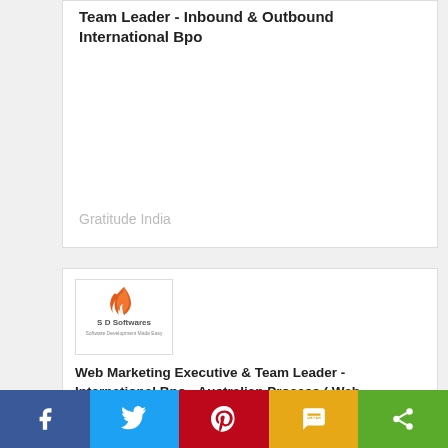Team Leader - Inbound & Outbound International Bpo
Gratitude India
[Figure (logo): S D Softwares logo with orange flame icon and text 'S D Softwares / Software Development Made Easy']
Web Marketing Executive & Team Leader - International Bpo - Australian Process ( Web Marketing )
Sd Softwares